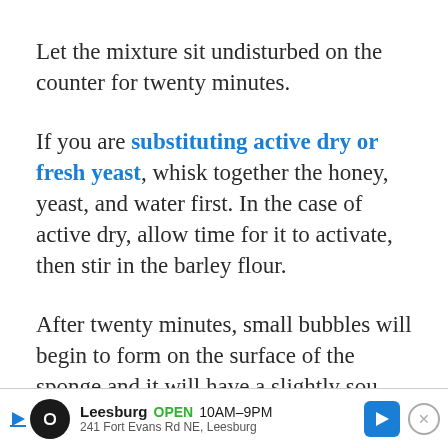Let the mixture sit undisturbed on the counter for twenty minutes.
If you are substituting active dry or fresh yeast, whisk together the honey, yeast, and water first. In the case of active dry, allow time for it to activate, then stir in the barley flour.
After twenty minutes, small bubbles will begin to form on the surface of the sponge and it will have a slightly sou[r smell]
[Figure (infographic): Advertisement banner at bottom of page: circular dark logo with infinity-style icon, text 'Leesburg OPEN 10AM-9PM 241 Fort Evans Rd NE, Leesburg', blue navigation arrow icon, and close button (X)]